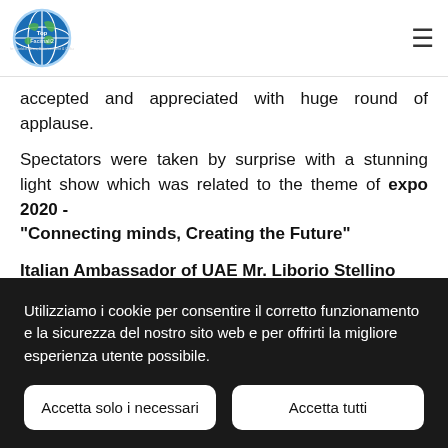Top Facimali2 - [logo with globe icon and hamburger menu]
accepted and appreciated with huge round of applause.
Spectators were taken by surprise with a stunning light show which was related to the theme of expo 2020 - "Connecting minds, Creating the Future"
Italian Ambassador of UAE Mr. Liborio Stellino addressed the gathering with his inspiring and admiring
Utilizziamo i cookie per consentire il corretto funzionamento e la sicurezza del nostro sito web e per offrirti la migliore esperienza utente possibile.
Accetta solo i necessari
Accetta tutti